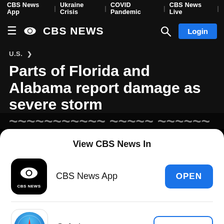CBS News App | Ukraine Crisis | COVID Pandemic | CBS News Live
[Figure (logo): CBS News logo with hamburger menu, eye logo, CBS NEWS text, search icon, and Login button]
U.S. >
Parts of Florida and Alabama report damage as severe storm
View CBS News In
CBS News App
Safari